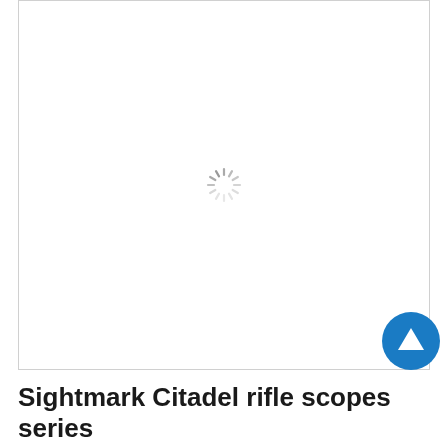[Figure (other): Loading spinner (circular animated loader) centered in a large white bordered image placeholder area]
Sightmark Citadel rifle scopes series
Oct 6, 2018 · 8:58am · By Diamonds Tender